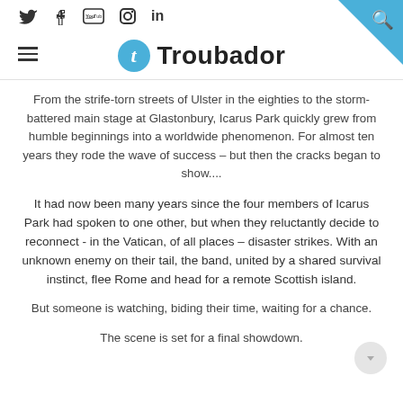Troubador
From the strife-torn streets of Ulster in the eighties to the storm-battered main stage at Glastonbury, Icarus Park quickly grew from humble beginnings into a worldwide phenomenon. For almost ten years they rode the wave of success – but then the cracks began to show....
It had now been many years since the four members of Icarus Park had spoken to one other, but when they reluctantly decide to reconnect - in the Vatican, of all places – disaster strikes. With an unknown enemy on their tail, the band, united by a shared survival instinct, flee Rome and head for a remote Scottish island.
But someone is watching, biding their time, waiting for a chance.
The scene is set for a final showdown.